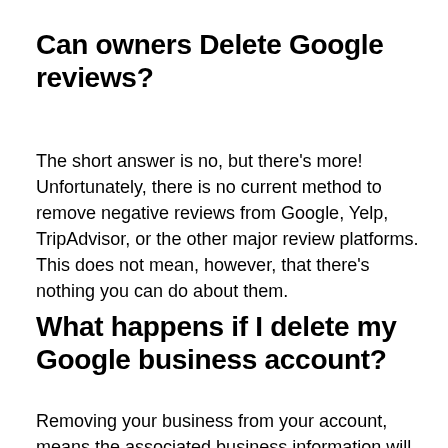Can owners Delete Google reviews?
The short answer is no, but there’s more! Unfortunately, there is no current method to remove negative reviews from Google, Yelp, TripAdvisor, or the other major review platforms. This does not mean, however, that there’s nothing you can do about them.
What happens if I delete my Google business account?
Removing your business from your account, means the associated business information will still